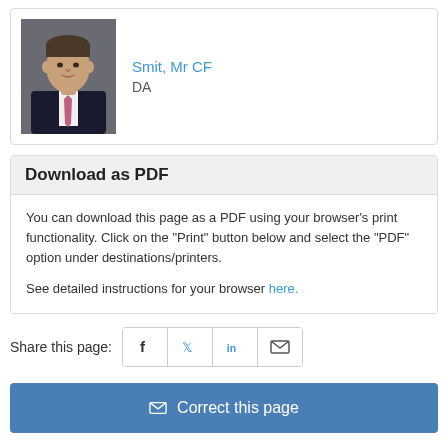[Figure (photo): Portrait photo of Smit Mr CF, a man in a dark suit with a pink tie, against a grey background]
Smit, Mr CF
DA
Download as PDF
You can download this page as a PDF using your browser's print functionality. Click on the "Print" button below and select the "PDF" option under destinations/printers.

See detailed instructions for your browser here.
Share this page:
Correct this page